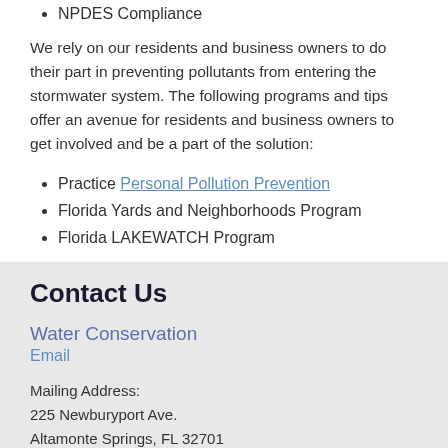NPDES Compliance
We rely on our residents and business owners to do their part in preventing pollutants from entering the stormwater system. The following programs and tips offer an avenue for residents and business owners to get involved and be a part of the solution:
Practice Personal Pollution Prevention
Florida Yards and Neighborhoods Program
Florida LAKEWATCH Program
Contact Us
Water Conservation
Email
Mailing Address:
225 Newburyport Ave.
Altamonte Springs, FL 32701